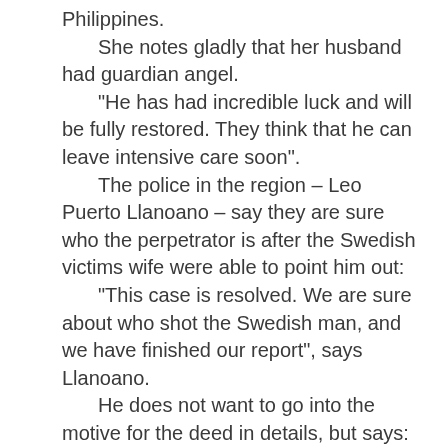Philippines.
She notes gladly that her husband had guardian angel.
“He has had incredible luck and will be fully restored. They think that he can leave intensive care soon”.
The police in the region – Leo Puerto Llanoano – say they are sure who the perpetrator is after the Swedish victims wife were able to point him out:
“This case is resolved. We are sure about who shot the Swedish man, and we have finished our report”, says Llanoano.
He does not want to go into the motive for the deed in details, but says:
“The suspect was previously the owner of the house and land, before the victim bought from him”.